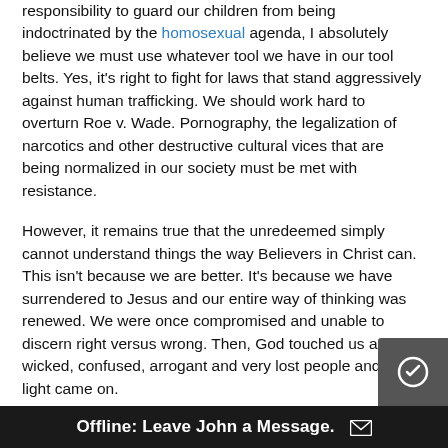responsibility to guard our children from being indoctrinated by the homosexual agenda, I absolutely believe we must use whatever tool we have in our tool belts. Yes, it's right to fight for laws that stand aggressively against human trafficking. We should work hard to overturn Roe v. Wade. Pornography, the legalization of narcotics and other destructive cultural vices that are being normalized in our society must be met with resistance.
However, it remains true that the unredeemed simply cannot understand things the way Believers in Christ can. This isn't because we are better. It's because we have surrendered to Jesus and our entire way of thinking was renewed. We were once compromised and unable to discern right versus wrong. Then, God touched us as wicked, confused, arrogant and very lost people and the light came on.
HOW ARE THE UNREDEEMED AT A DISADVANTAGE?
I know you begin to mourn as...